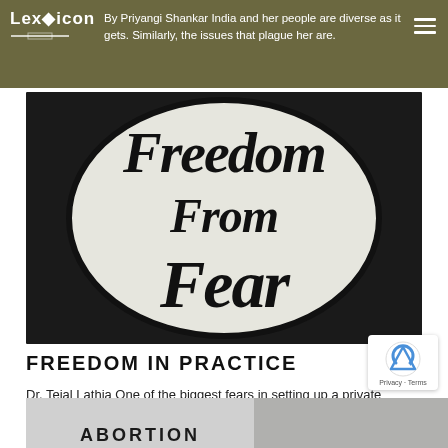Lexicon — By Priyangi Shankar India and her people are diverse as it gets. Similarly, the issues that plague her are.
[Figure (photo): Black and white photo of a sign reading 'Freedom from Fear' in handwritten lettering on a circular white background with black border]
FREEDOM IN PRACTICE
Dr. Tejal Lathia One of the biggest fears in setting up a private practice is that you are all alone,...
[Figure (photo): Partial bottom strip showing 'ABORTION' text and a grayscale image]